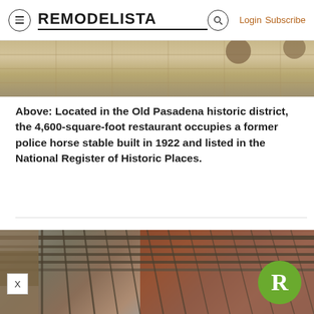≡  REMODELISTA  🔍  Login  Subscribe
[Figure (photo): Partial view of an outdoor restaurant patio floor with stone/tile pavers]
Above: Located in the Old Pasadena historic district, the 4,600-square-foot restaurant occupies a former police horse stable built in 1922 and listed in the National Register of Historic Places.
[Figure (photo): Overhead pergola/trellis structure with metal beams against a brick wall background at the Old Pasadena restaurant]